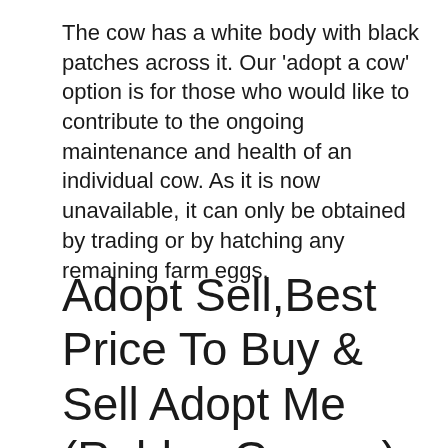The cow has a white body with black patches across it. Our 'adopt a cow' option is for those who would like to contribute to the ongoing maintenance and health of an individual cow. As it is now unavailable, it can only be obtained by trading or by hatching any remaining farm eggs.
Adopt Sell,Best Price To Buy & Sell Adopt Me (Roblox Games) Pets & Items Roblox Platform Roblox Platform On Z2U Market Cheap,Safe,Fast And Guaranteed!